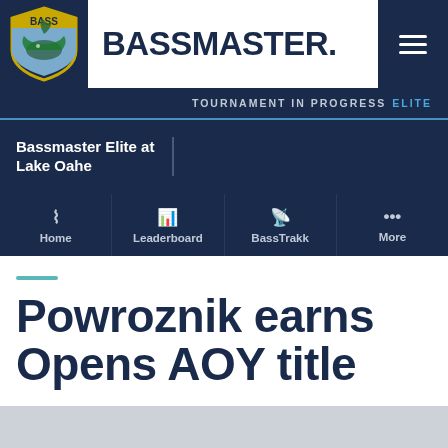[Figure (logo): BASS shield logo with yellow top, dark blue background, and bass fish illustration]
BASSMASTER.
[Figure (other): Hamburger menu icon (three horizontal white lines on dark blue background)]
TOURNAMENT IN PROGRESS ELITE
Bassmaster Elite at Lake Oahe
Home
Leaderboard
BassTrakk
More
Powroznik earns Opens AOY title
October 30, 2021